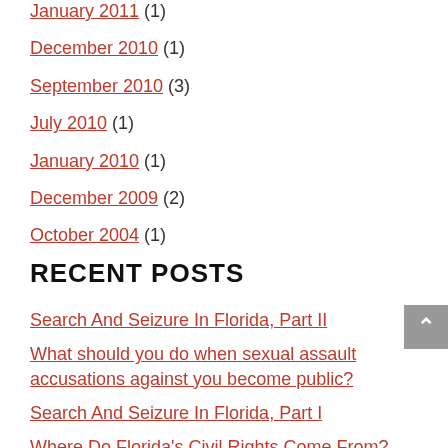January 2011 (1)
December 2010 (1)
September 2010 (3)
July 2010 (1)
January 2010 (1)
December 2009 (2)
October 2004 (1)
RECENT POSTS
Search And Seizure In Florida, Part II
What should you do when sexual assault accusations against you become public?
Search And Seizure In Florida, Part I
Where Do Florida's Civil Rights Come From?